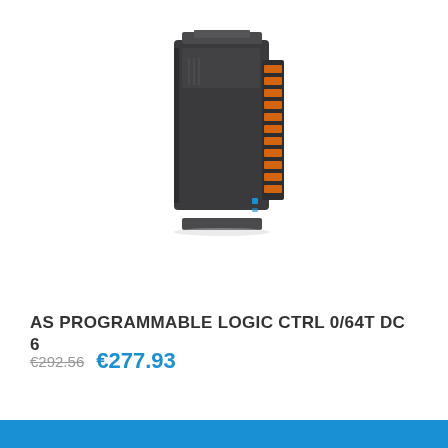[Figure (photo): A dark grey programmable logic controller unit (PLC) with orange terminal connectors on the right side, shown in a product catalog photo on a white background.]
AS PROGRAMMABLE LOGIC CTRL 0/64T DC 6
€292.56  €277.93